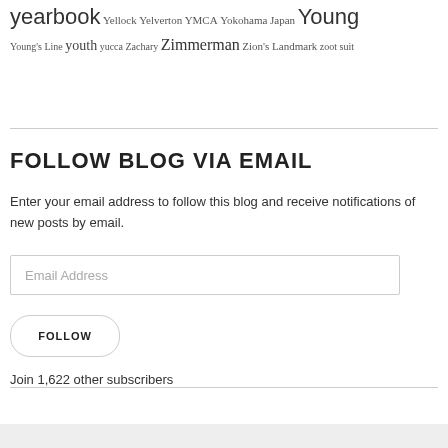yearbook Yellock Yelverton YMCA Yokohama Japan Young Young's Line youth yucca Zachary Zimmerman Zion's Landmark zoot suit
FOLLOW BLOG VIA EMAIL
Enter your email address to follow this blog and receive notifications of new posts by email.
Email Address
FOLLOW
Join 1,622 other subscribers